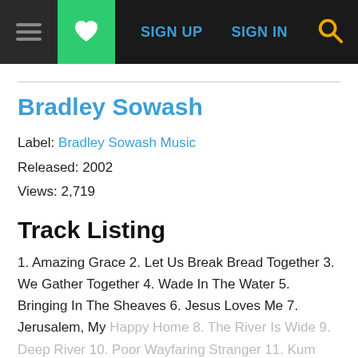SIGN UP  SIGN IN
Bradley Sowash
Label: Bradley Sowash Music
Released: 2002
Views: 2,719
Track Listing
1. Amazing Grace 2. Let Us Break Bread Together 3. We Gather Together 4. Wade In The Water 5. Bringing In The Sheaves 6. Jesus Loves Me 7. Jerusalem, My Happy Home 8. The River Is Wide 9. Deep River 10. Poor Wayfaring Stranger 11. Kum Bah Yah 12. What A